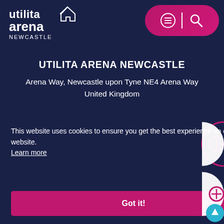[Figure (logo): Utilita Arena Newcastle logo in white text on dark navy background, with house/home icon]
[Figure (other): Navigation buttons: hamburger menu and search icon on magenta/pink rounded rectangle background]
UTILITA ARENA NEWCASTLE
Arena Way, Newcastle upon Tyne NE4 Arena Way
United Kingdom
[Figure (other): Social media icons row: Instagram, Facebook, Twitter, YouTube in white on dark navy background]
This website uses cookies to ensure you get the best experience on our website.
Learn more
Got it!